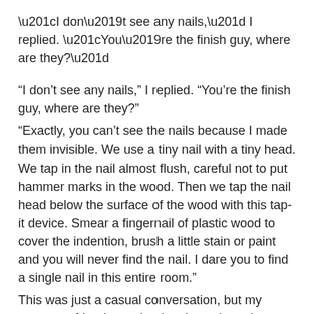“I don’t see any nails,” I replied. “You’re the finish guy, where are they?”
“Exactly, you can’t see the nails because I made them invisible. We use a tiny nail with a tiny head. We tap in the nail almost flush, careful not to put hammer marks in the wood. Then we tap the nail head below the surface of the wood with this tap-it device. Smear a fingernail of plastic wood to cover the indention, brush a little stain or paint and you will never find the nail. I dare you to find a single nail in this entire room.”
This was just a casual conversation, but my carpenter friend was dead serious about the quality of his finish work. In an interview, this understanding would guide my questions.
I want to ask you about three projects. And, they have to be real projects. First project, you had a lot of time, there was plenty of budget and schedule to go slow and pay attention to detail. Second project, you had to keep